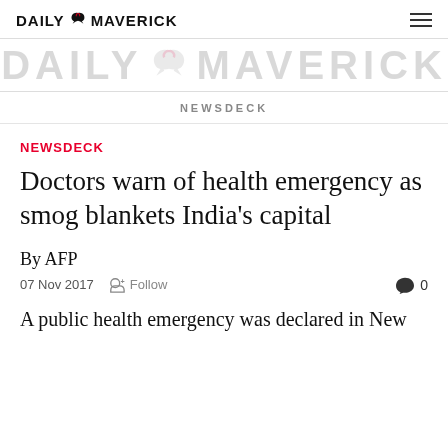DAILY MAVERICK
[Figure (logo): Daily Maverick large watermark logo with bird emblem]
NEWSDECK
NEWSDECK
Doctors warn of health emergency as smog blankets India's capital
By AFP
07 Nov 2017   Follow   0
A public health emergency was declared in New